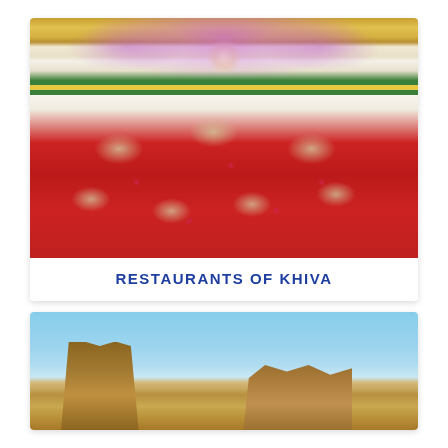[Figure (photo): Interior of a large ornate banquet hall with gold and green decorations, crystal chandeliers, pink/purple ceiling lighting, many round tables set with white and gold chair covers on a red carpet floor, with murals on the walls.]
RESTAURANTS OF KHIVA
[Figure (photo): Outdoor photo of ancient brick ruins or towers against a clear blue sky, with sandy desert terrain in the foreground.]